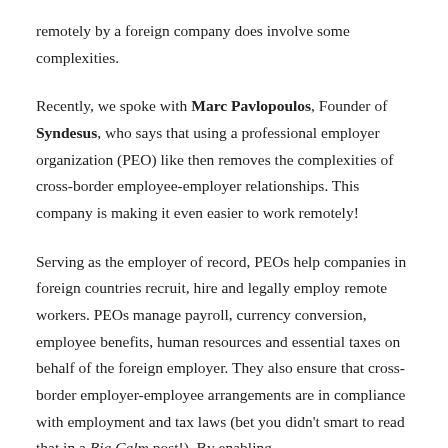remotely by a foreign company does involve some complexities.
Recently, we spoke with Marc Pavlopoulos, Founder of Syndesus, who says that using a professional employer organization (PEO) like then removes the complexities of cross-border employee-employer relationships. This company is making it even easier to work remotely!
Serving as the employer of record, PEOs help companies in foreign countries recruit, hire and legally employ remote workers. PEOs manage payroll, currency conversion, employee benefits, human resources and essential taxes on behalf of the foreign employer. They also ensure that cross-border employer-employee arrangements are in compliance with employment and tax laws (bet you didn't smart to read that in a Big Calm post!). By enabling